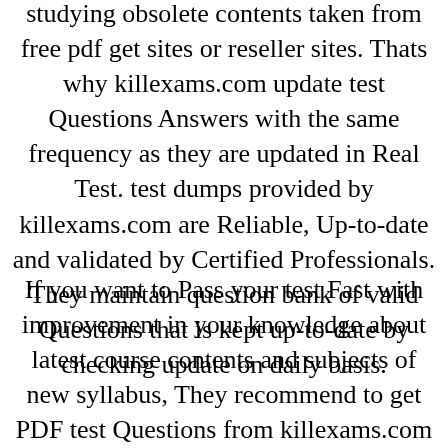studying obsolete contents taken from free pdf get sites or reseller sites. Thats why killexams.com update test Questions Answers with the same frequency as they are updated in Real Test. test dumps provided by killexams.com are Reliable, Up-to-date and validated by Certified Professionals. They maintain question bank of valid Questions that is kept up-to-date by checking update on daily basis.
If you want to Pass your test Fast with improvement in your knowledge about latest course contents and subjects of new syllabus, They recommend to get PDF test Questions from killexams.com and get ready for real exam. When you feel that you